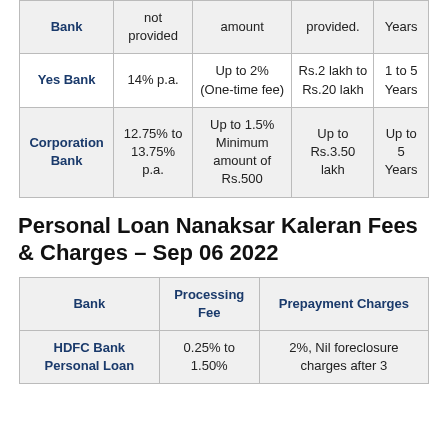| Bank | Interest Rate | Processing Fee | Loan Amount | Tenure |
| --- | --- | --- | --- | --- |
| Bank | not provided | amount | provided. | Years |
| Yes Bank | 14% p.a. | Up to 2% (One-time fee) | Rs.2 lakh to Rs.20 lakh | 1 to 5 Years |
| Corporation Bank | 12.75% to 13.75% p.a. | Up to 1.5% Minimum amount of Rs.500 | Up to Rs.3.50 lakh | Up to 5 Years |
Personal Loan Nanaksar Kaleran Fees & Charges – Sep 06 2022
| Bank | Processing Fee | Prepayment Charges |
| --- | --- | --- |
| HDFC Bank Personal Loan | 0.25% to 1.50% | 2%, Nil foreclosure charges after 3 |